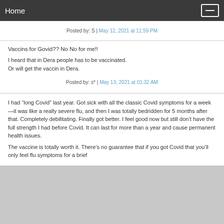Home
Posted by: S | May 12, 2021 at 11:59 PM
Vaccins for Govid?? No No for me!!
I heard that in Dera people has to be vaccinated.
Or will get the vaccin in Dera.
Posted by: s* | May 13, 2021 at 01:32 AM
I had “long Covid” last year. Got sick with all the classic Covid symptoms for a week—it was like a really severe flu, and then I was totally bedridden for 5 months after that. Completely debilitating. Finally got better. I feel good now but still don’t have the full strength I had before Covid. It can last for more than a year and cause permanent health issues.
The vaccine is totally worth it. There’s no guarantee that if you got Covid that you’ll only feel flu symptoms for a brief...